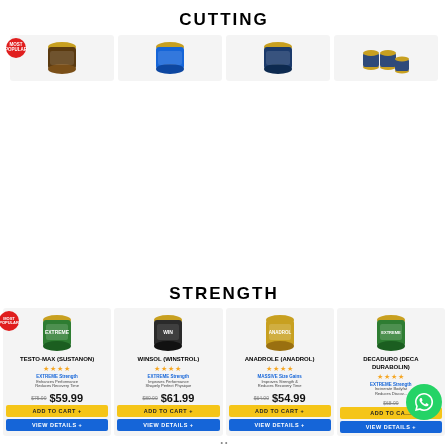CUTTING
[Figure (photo): Four product cards for cutting supplements arranged in a row, first with 'Most Popular' badge. Products show supplement bottles.]
STRENGTH
[Figure (photo): Four product cards for strength supplements: TESTO-MAX (SUSTANON) $59.99, WINSOL (WINSTROL) $61.99, ANADROLE (ANADROL) $54.99, DECADURO (DECA DURABOLIN). Each has Add to Cart and View Details buttons.]